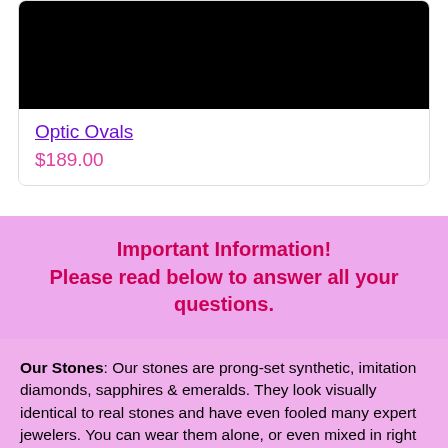[Figure (photo): Black product image area (top of card)]
Optic Ovals
$189.00
Important Information! Please read below to answer all your questions.
Our Stones: Our stones are prong-set synthetic, imitation diamonds, sapphires & emeralds. They look visually identical to real stones and have even fooled many expert jewelers. You can wear them alone, or even mixed in right next to your real jewelry. They are perfect for travel too. Get the great look & sparkle, without the